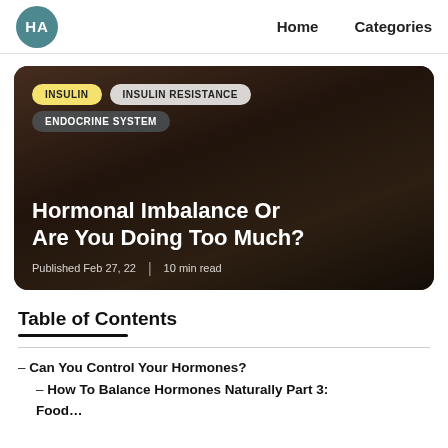HA  Home  Categories
[Figure (photo): Dark-toned photo of a woman with article title overlay. Tags: INSULIN, INSULIN RESISTANCE, ENDOCRINE SYSTEM. Title: Hormonal Imbalance Or Are You Doing Too Much? Published Feb 27, 22 | 10 min read]
Table of Contents
– Can You Control Your Hormones?
– How To Balance Hormones Naturally Part 3: Food…